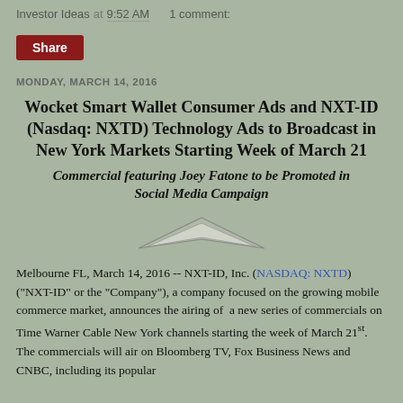Investor Ideas at 9:52 AM   1 comment:
Share
MONDAY, MARCH 14, 2016
Wocket Smart Wallet Consumer Ads and NXT-ID (Nasdaq: NXTD) Technology Ads to Broadcast in New York Markets Starting Week of March 21
Commercial featuring Joey Fatone to be Promoted in Social Media Campaign
[Figure (logo): Small arrow/chevron logo graphic]
Melbourne FL, March 14, 2016 -- NXT-ID, Inc. (NASDAQ: NXTD) ("NXT-ID" or the "Company"), a company focused on the growing mobile commerce market, announces the airing of  a new series of commercials on Time Warner Cable New York channels starting the week of March 21st.  The commercials will air on Bloomberg TV, Fox Business News and CNBC, including its popular